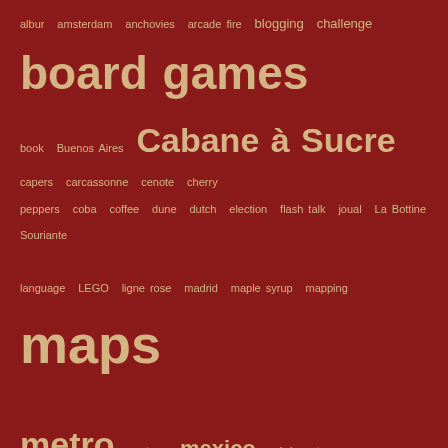[Figure (infographic): Tag cloud on dark red background with terms of varying sizes in golden/cream color. Largest terms: board games, Cabane à Sucre, maps, metro, mexico, montreal, Nicaragua, Paris, transit, WordCamp, WordCamp Montreal. Medium: blogging, challenge, LEGO, Subte. Small: albur, amsterdam, anchovies, arcade fire, book, Buenos Aires, capers, carcassonne, cenote, cherry peppers, coba, coffee, dune, dutch, election, flash talk, joual, La Bottine Souriante, language, ligne rose, madrid, maple syrup, mapping, metros, mini metro, Nandaime, north-south studies, olympics, orange cones, pink line, polyglot, privilege, projet montreal, pumas, quebec, rain, recipe, ruins, rum, sacres, scuba, snow, sprawl, storm, sugar shack, swearing, swimming, t-shirts, taffy, tattoo, tour, trees, tulum, tuna, unam, valerie plante, water, water main, water polo, wind, yucatan.]
ARCHIVES